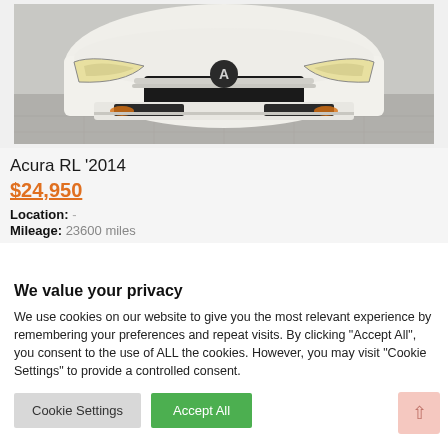[Figure (photo): Front view of a white Acura RL 2014 sedan in a showroom with tiled floor]
Acura RL '2014
$24,950
Location: -
Mileage: 23600 miles
We value your privacy
We use cookies on our website to give you the most relevant experience by remembering your preferences and repeat visits. By clicking “Accept All”, you consent to the use of ALL the cookies. However, you may visit "Cookie Settings" to provide a controlled consent.
Cookie Settings
Accept All